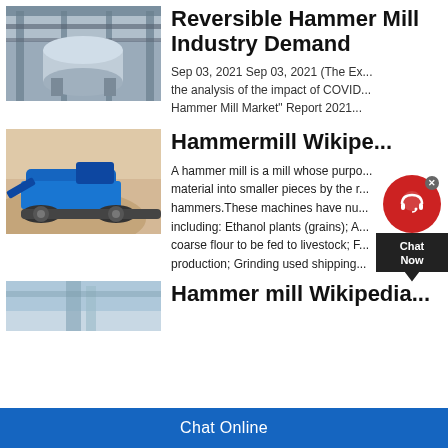[Figure (photo): Industrial machinery - large cylindrical mill or kiln in a factory setting with metal framework]
Reversible Hammer Mill Industry Demand
Sep 03, 2021 Sep 03, 2021 (The Ex... the analysis of the impact of COVID... Hammer Mill Market" Report 2021...
[Figure (photo): Blue mobile crushing machine/hammer mill on tracks outdoors near a sand mound]
Hammermill Wikipe...
A hammer mill is a mill whose purpo... material into smaller pieces by the r... hammers.These machines have nu... including: Ethanol plants (grains); A... coarse flour to be fed to livestock; F... production; Grinding used shipping...
[Figure (photo): Industrial mill machinery partially visible]
Hammer mill Wikipedia...
Chat Online